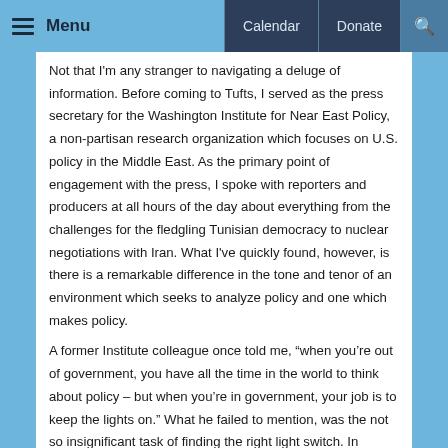Menu  Calendar  Donate
Not that I’m any stranger to navigating a deluge of information. Before coming to Tufts, I served as the press secretary for the Washington Institute for Near East Policy, a non-partisan research organization which focuses on U.S. policy in the Middle East. As the primary point of engagement with the press, I spoke with reporters and producers at all hours of the day about everything from the challenges for the fledgling Tunisian democracy to nuclear negotiations with Iran. What I’ve quickly found, however, is there is a remarkable difference in the tone and tenor of an environment which seeks to analyze policy and one which makes policy.
A former Institute colleague once told me, “when you’re out of government, you have all the time in the world to think about policy – but when you’re in government, your job is to keep the lights on.” What he failed to mention, was the not so insignificant task of finding the right light switch. In